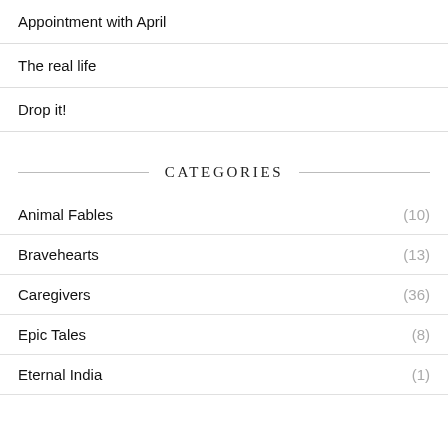Appointment with April
The real life
Drop it!
CATEGORIES
Animal Fables (10)
Bravehearts (13)
Caregivers (36)
Epic Tales (8)
Eternal India (1)